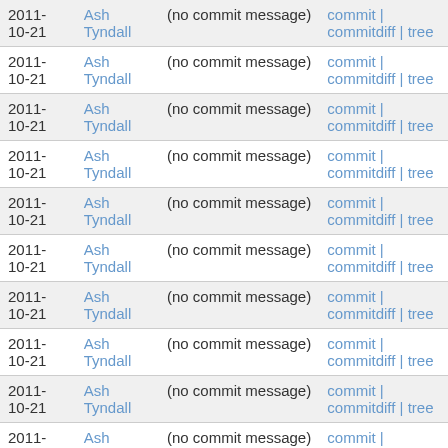| date | author | message | links |
| --- | --- | --- | --- |
| 2011-10-21 | Ash Tyndall | (no commit message) | commit | commitdiff | tree |
| 2011-10-21 | Ash Tyndall | (no commit message) | commit | commitdiff | tree |
| 2011-10-21 | Ash Tyndall | (no commit message) | commit | commitdiff | tree |
| 2011-10-21 | Ash Tyndall | (no commit message) | commit | commitdiff | tree |
| 2011-10-21 | Ash Tyndall | (no commit message) | commit | commitdiff | tree |
| 2011-10-21 | Ash Tyndall | (no commit message) | commit | commitdiff | tree |
| 2011-10-21 | Ash Tyndall | (no commit message) | commit | commitdiff | tree |
| 2011-10-21 | Ash Tyndall | (no commit message) | commit | commitdiff | tree |
| 2011-10-21 | Ash Tyndall | (no commit message) | commit | commitdiff | tree |
| 2011-10-21 | Ash Tyndall | (no commit message) | commit | commitdiff | tree |